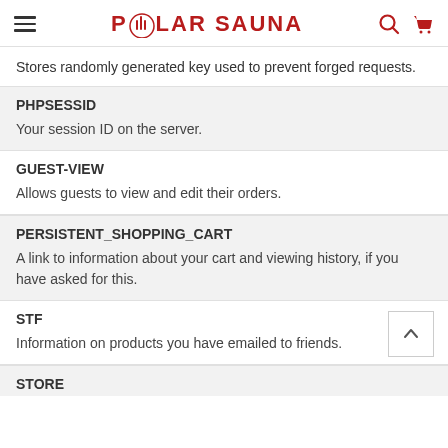POLAR SAUNA
Stores randomly generated key used to prevent forged requests.
PHPSESSID
Your session ID on the server.
GUEST-VIEW
Allows guests to view and edit their orders.
PERSISTENT_SHOPPING_CART
A link to information about your cart and viewing history, if you have asked for this.
STF
Information on products you have emailed to friends.
STORE